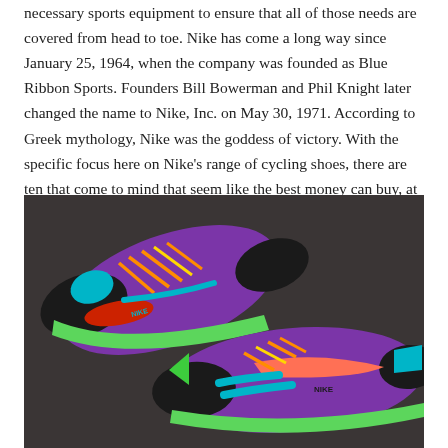necessary sports equipment to ensure that all of those needs are covered from head to toe. Nike has come a long way since January 25, 1964, when the company was founded as Blue Ribbon Sports. Founders Bill Bowerman and Phil Knight later changed the name to Nike, Inc. on May 30, 1971. According to Greek mythology, Nike was the goddess of victory. With the specific focus here on Nike's range of cycling shoes, there are ten that come to mind that seem like the best money can buy, at least for now.
[Figure (photo): Two colorful Nike cycling shoes with purple suede upper, orange/yellow laces, teal accents, green sole trim, and orange/red interior, displayed on a dark grey surface.]